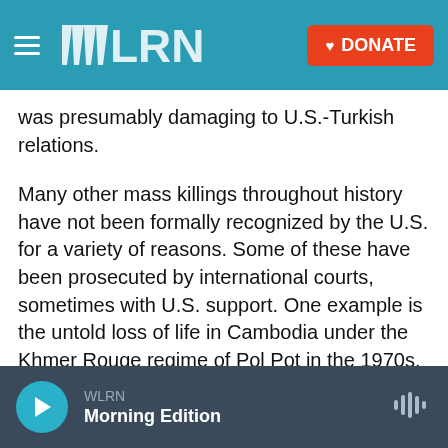WLRN | DONATE
was presumably damaging to U.S.-Turkish relations.
Many other mass killings throughout history have not been formally recognized by the U.S. for a variety of reasons. Some of these have been prosecuted by international courts, sometimes with U.S. support. One example is the untold loss of life in Cambodia under the Khmer Rouge regime of Pol Pot in the 1970s.
The other five genocides that have received official recognition by the U.S. since the formal process began in 1988...
WLRN — Morning Edition